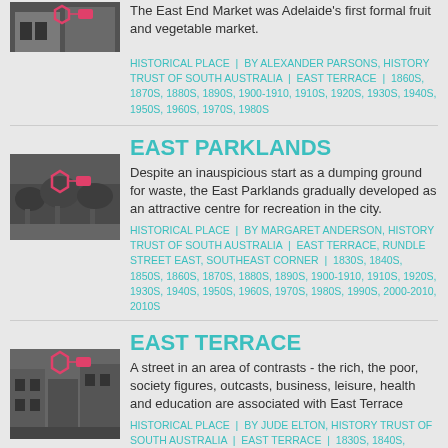[Figure (photo): Black and white photograph of a historic building with a pink hexagon marker overlay]
The East End Market was Adelaide's first formal fruit and vegetable market.
HISTORICAL PLACE | BY ALEXANDER PARSONS, HISTORY TRUST OF SOUTH AUSTRALIA | EAST TERRACE | 1860S, 1870S, 1880S, 1890S, 1900-1910, 1910S, 1920S, 1930S, 1940S, 1950S, 1960S, 1970S, 1980S
EAST PARKLANDS
[Figure (photo): Black and white photograph with pink hexagon marker overlay]
Despite an inauspicious start as a dumping ground for waste, the East Parklands gradually developed as an attractive centre for recreation in the city.
HISTORICAL PLACE | BY MARGARET ANDERSON, HISTORY TRUST OF SOUTH AUSTRALIA | EAST TERRACE, RUNDLE STREET EAST, SOUTHEAST CORNER | 1830S, 1840S, 1850S, 1860S, 1870S, 1880S, 1890S, 1900-1910, 1910S, 1920S, 1930S, 1940S, 1950S, 1960S, 1970S, 1980S, 1990S, 2000-2010, 2010S
EAST TERRACE
[Figure (photo): Black and white photograph of a street scene with pink hexagon marker overlay]
A street in an area of contrasts - the rich, the poor, society figures, outcasts, business, leisure, health and education are associated with East Terrace
HISTORICAL PLACE | BY JUDE ELTON, HISTORY TRUST OF SOUTH AUSTRALIA | EAST TERRACE | 1830S, 1840S, 1850S, 1860S, 1870S, 1880S, 1890S, 1900-1910, 1920S, 1930S, 1940S, 1950S, 1960S, 1970S, 1980S, 1990S, ABORIGINAL COUNTRY PRE-CONTACT, EARLY TWENTY–FIRST CENTURY
[Figure (photo): Black and white photograph partially visible at bottom]